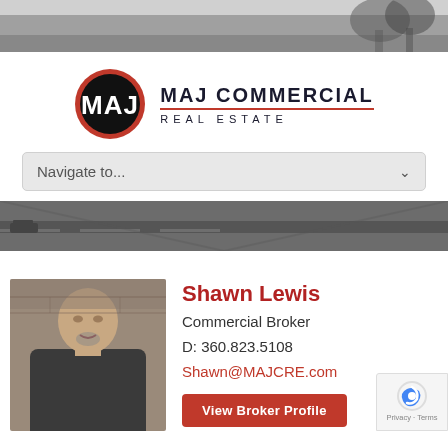[Figure (photo): Black and white landscape/outdoor photo at top of page, showing trees and sky]
[Figure (logo): MAJ Commercial Real Estate logo: circular black badge with red border and MAJ monogram, next to text MAJ COMMERCIAL REAL ESTATE]
Navigate to...
[Figure (photo): Black and white road/parking lot aerial photo banner]
[Figure (photo): Professional headshot of Shawn Lewis, a bald man in a dark jacket standing in front of a brick wall]
Shawn Lewis
Commercial Broker
D: 360.823.5108
Shawn@MAJCRE.com
View Broker Profile